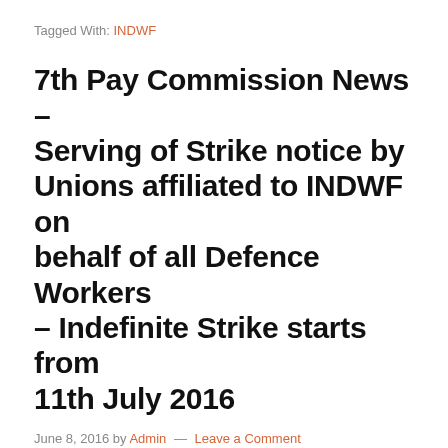Tagged With: INDWF
7th Pay Commission News – Serving of Strike notice by Unions affiliated to INDWF on behalf of all Defence Workers – Indefinite Strike starts from 11th July 2016
June 8, 2016 by Admin — Leave a Comment
7th Pay Commission News – Serving of Strike notice by Unions affiliated to INDWF on behalf of all Defence Workers –